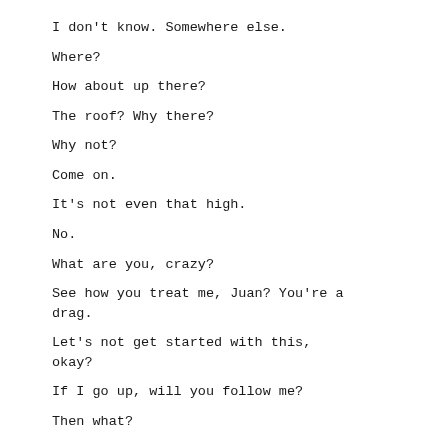I don't know. Somewhere else.
Where?
How about up there?
The roof? Why there?
Why not?
Come on.
It's not even that high.
No.
What are you, crazy?
See how you treat me, Juan? You're a drag.
Let's not get started with this, okay?
If I go up, will you follow me?
Then what?